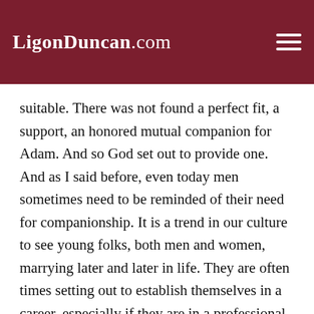LigonDuncan.com
suitable. There was not found a perfect fit, a support, an honored mutual companion for Adam. And so God set out to provide one. And as I said before, even today men sometimes need to be reminded of their need for companionship. It is a trend in our culture to see young folks, both men and women, marrying later and later in life. They are often times setting out to establish themselves in a career, especially if they are in a professional career like law or medicine. The schooling and the demands of debt and the burdens of work sometimes push those marriages later and later in life. Many times people get into a pattern of living where they sort of obtain a form of anesthetized self-sufficiency and they stop thinking about marriage and they wake up at